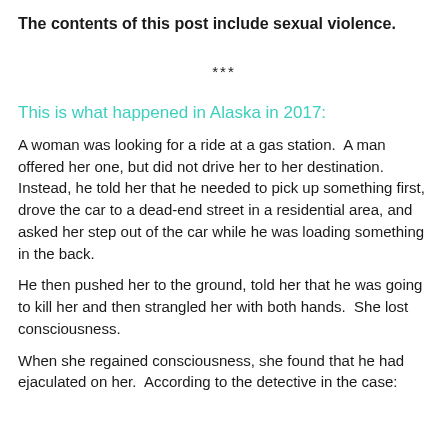The contents of this post include sexual violence.
***
This is what happened in Alaska in 2017:
A woman was looking for a ride at a gas station.  A man offered her one, but did not drive her to her destination.  Instead, he told her that he needed to pick up something first, drove the car to a dead-end street in a residential area, and asked her step out of the car while he was loading something in the back.
He then pushed her to the ground, told her that he was going to kill her and then strangled her with both hands.  She lost consciousness.
When she regained consciousness, she found that he had ejaculated on her.  According to the detective in the case: